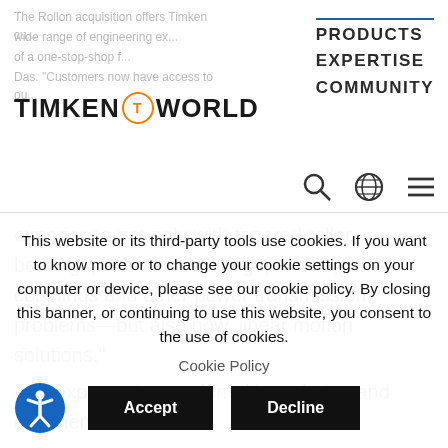TIMKEN WORLD — PRODUCTS EXPERTISE COMMUNITY
The Rollon acquisition offers Timken customers a wide range of engineering expertise of a one-stop-shop for Das. "Customers now have access to our experience not only with tapered roller bearings, industrial bearings, chains, belts, couplings and other power transmission problems—but also now, linear motion solutions."
Das expects the combined knowledge and experience of both
This website or its third-party tools use cookies. If you want to know more or to change your cookie settings on your computer or device, please see our cookie policy. By closing this banner, or continuing to use this website, you consent to the use of cookies.
Cookie Policy
Accept
Decline